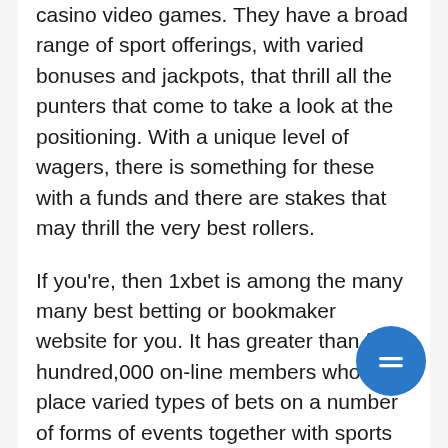casino video games. They have a broad range of sport offerings, with varied bonuses and jackpots, that thrill all the punters that come to take a look at the positioning. With a unique level of wagers, there is something for these with a funds and there are stakes that may thrill the very best rollers.
If you're, then 1xbet is among the many many best betting or bookmaker website for you. It has greater than four hundred,000 on-line members who place varied types of bets on a number of forms of events together with sports actions actions actions and others. Yes, you might edit, commerce, or delete any unsettled selection in a guess-slip, nevertheless offered that your guess is on a pre-match event. It doesn't matter whether or not you utilize the 1xBet apk for